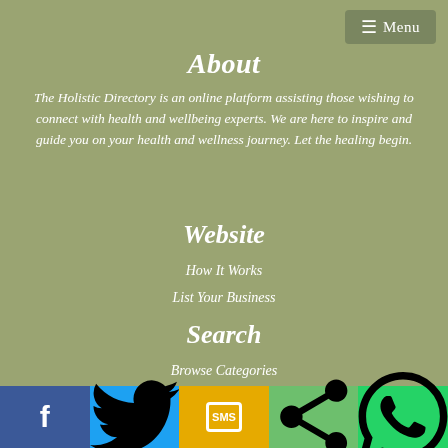Menu
About
The Holistic Directory is an online platform assisting those wishing to connect with health and wellbeing experts. We are here to inspire and guide you on your health and wellness journey. Let the healing begin.
Website
How It Works
List Your Business
Search
Browse Categories
Browse Locations
[Figure (infographic): Social sharing bar with Facebook, Twitter, SMS, Share, and WhatsApp buttons]